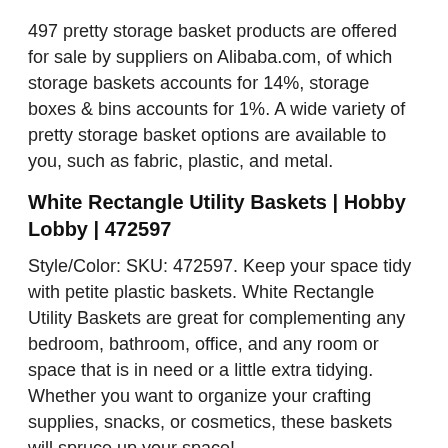497 pretty storage basket products are offered for sale by suppliers on Alibaba.com, of which storage baskets accounts for 14%, storage boxes & bins accounts for 1%. A wide variety of pretty storage basket options are available to you, such as fabric, plastic, and metal.
White Rectangle Utility Baskets | Hobby Lobby | 472597
Style/Color: SKU: 472597. Keep your space tidy with petite plastic baskets. White Rectangle Utility Baskets are great for complementing any bedroom, bathroom, office, and any room or space that is in need or a little extra tidying. Whether you want to organize your crafting supplies, snacks, or cosmetics, these baskets will spruce up your space!
Polypropylene Rectangular Tanks | Plastic-Mart